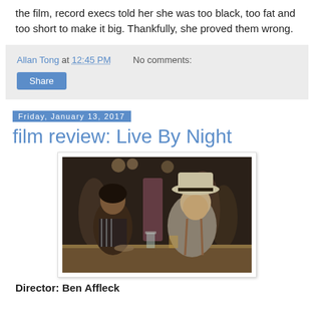the film, record execs told her she was too black, too fat and too short to make it big. Thankfully, she proved them wrong.
Allan Tong at 12:45 PM   No comments:
Share
Friday, January 13, 2017
film review: Live By Night
[Figure (photo): Scene from the film Live By Night showing a man in a fedora hat and a woman sitting at a bar or table, with a crowd in the background.]
Director: Ben Affleck